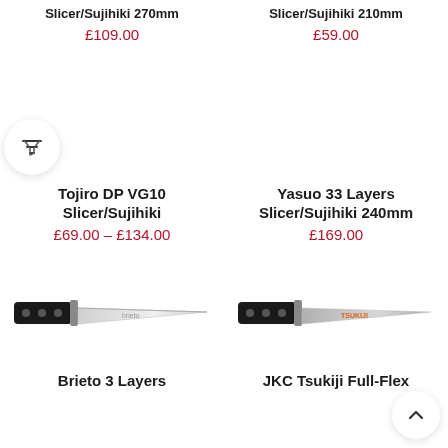Slicer/Sujihiki 270mm
£109.00
Slicer/Sujihiki 210mm
£59.00
Tojiro DP VG10 Slicer/Sujihiki
£69.00 – £134.00
Yasuo 33 Layers Slicer/Sujihiki 240mm
£169.00
[Figure (photo): Kitchen knife - Brieto 3 Layers Slicer]
Brieto 3 Layers
[Figure (photo): Kitchen knife - JKC Tsukiji Full-Flex]
JKC Tsukiji Full-Flex